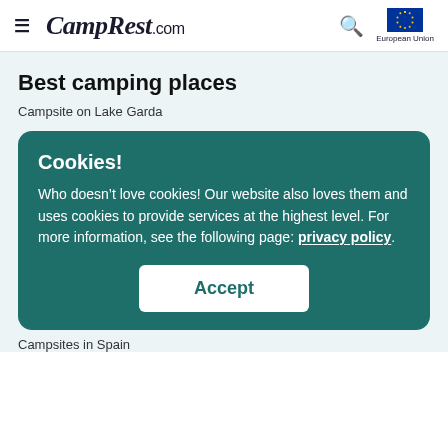CampRest.com
Best camping places
Campsite on Lake Garda
Cookies!
Who doesn’t love cookies! Our website also loves them and uses cookies to provide services at the highest level. For more information, see the following page: privacy policy.
Accept
Campsites in Spain